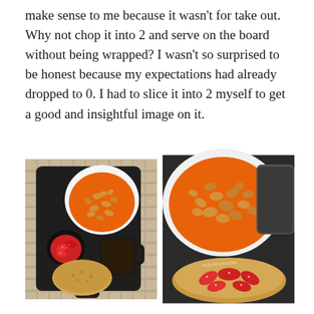make sense to me because it wasn't for take out. Why not chop it into 2 and serve on the board without being wrapped? I wasn't so surprised to be honest because my expectations had already dropped to 0. I had to slice it into 2 myself to get a good and insightful image on it.
[Figure (photo): Overhead view of a black serving board with a white bowl of baked beans in tomato sauce, a small black bowl with strawberry slices, a mug of dark coffee, and a round crumpet/muffin on a woven placemat.]
[Figure (photo): Close-up overhead view of a white bowl filled with baked beans in tomato sauce, a dark mug, and a round crumpet/muffin topped with sliced strawberries arranged in a fan pattern, on a dark surface. Watermark: nickymbursa.com]